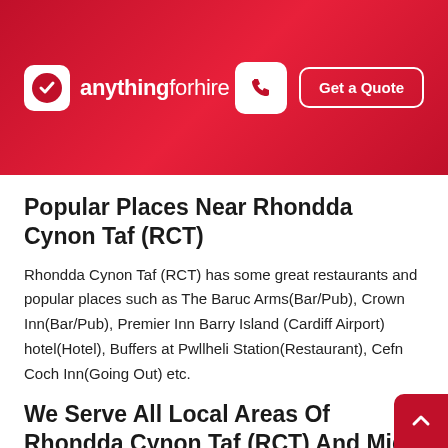anythingforhire — Get a Quote
Popular Places Near Rhondda Cynon Taf (RCT)
Rhondda Cynon Taf (RCT) has some great restaurants and popular places such as The Baruc Arms(Bar/Pub), Crown Inn(Bar/Pub), Premier Inn Barry Island (Cardiff Airport) hotel(Hotel), Buffers at Pwllheli Station(Restaurant), Cefn Coch Inn(Going Out) etc.
We Serve All Local Areas Of Rhondda Cynon Taf (RCT) And Mid Glamorgan
We offer Helicopter Hire in all local areas in Mid Glamorgan including Aberdare, Bridgend, Caerphilly, Llantrisant, Maesteg, Merthyr Tydfil, Pontypridd, Porth, Porthcawl, Pontyclun, Talbot Green, Rhondda Cynon T…